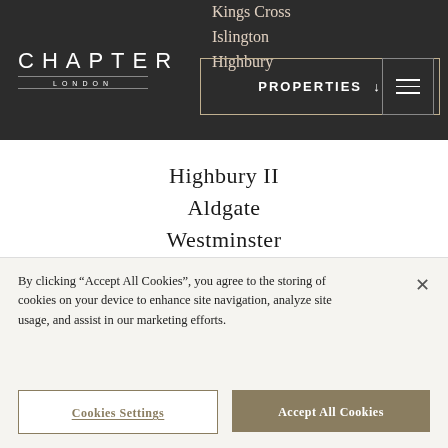CHAPTER LONDON
Kings Cross
Islington
Highbury
Highbury II
Aldgate
Westminster
Spitalfields
Old Street
Lewisham
South Bank
Portobello
White City
By clicking “Accept All Cookies”, you agree to the storing of cookies on your device to enhance site navigation, analyze site usage, and assist in our marketing efforts.
Cookies Settings
Accept All Cookies